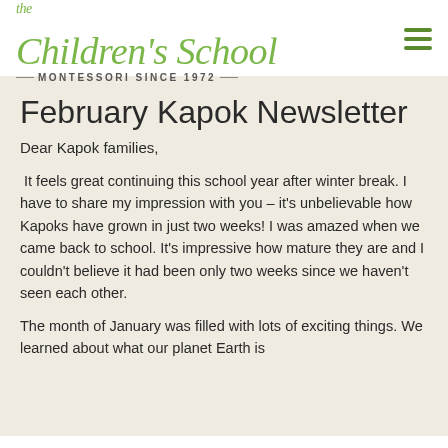the Children's School — MONTESSORI SINCE 1972 —
February Kapok Newsletter
Dear Kapok families,
It feels great continuing this school year after winter break. I have to share my impression with you – it's unbelievable how Kapoks have grown in just two weeks! I was amazed when we came back to school. It's impressive how mature they are and I couldn't believe it had been only two weeks since we haven't seen each other.
The month of January was filled with lots of exciting things. We learned about what our planet Earth is